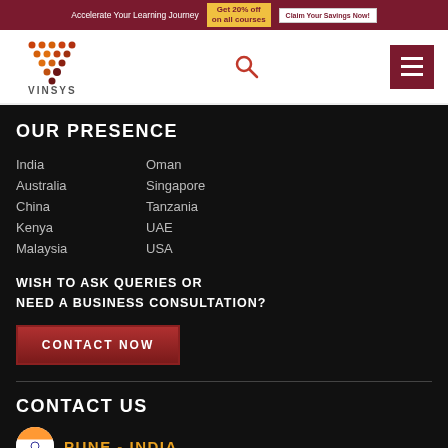Accelerate Your Learning Journey  Get 20% off on all courses  Claim Your Savings Now!
[Figure (logo): Vinsys logo with dot-pattern V shape in orange/maroon and VINSYS text below]
OUR PRESENCE
India
Oman
Australia
Singapore
China
Tanzania
Kenya
UAE
Malaysia
USA
WISH TO ASK QUERIES OR
NEED A BUSINESS CONSULTATION?
CONTACT NOW
CONTACT US
PUNE - INDIA